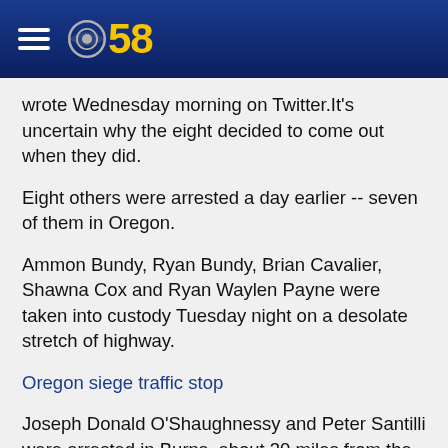CBS 58
wrote Wednesday morning on Twitter.It's uncertain why the eight decided to come out when they did.
Eight others were arrested a day earlier -- seven of them in Oregon.
Ammon Bundy, Ryan Bundy, Brian Cavalier, Shawna Cox and Ryan Waylen Payne were taken into custody Tuesday night on a desolate stretch of highway.
Oregon siege traffic stop
Joseph Donald O'Shaughnessy and Peter Santilli were arrested in Burns, about 30 miles from the refuge.
An eighth person was arrested in Arizona.
All of them were charged on Tuesday, facing federal...